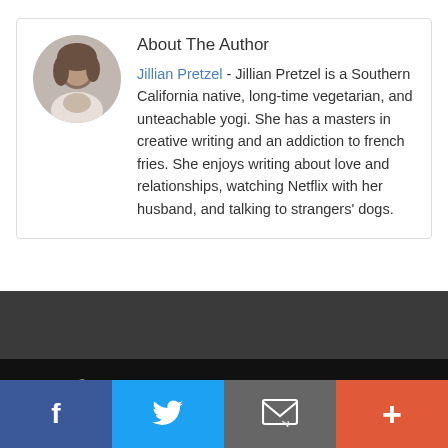About The Author
Jillian Pretzel - Jillian Pretzel is a Southern California native, long-time vegetarian, and unteachable yogi. She has a masters in creative writing and an addiction to french fries. She enjoys writing about love and relationships, watching Netflix with her husband, and talking to strangers' dogs.
Copyright © 2018 LOVE TV  |  Home  |  About Us  |  Privacy Policy  |  Terms of Service